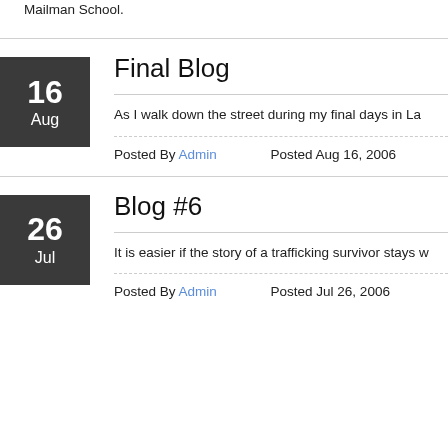Mailman School.
Final Blog
As I walk down the street during my final days in La
Posted By Admin      Posted Aug 16, 2006
Blog #6
It is easier if the story of a trafficking survivor stays w
Posted By Admin      Posted Jul 26, 2006